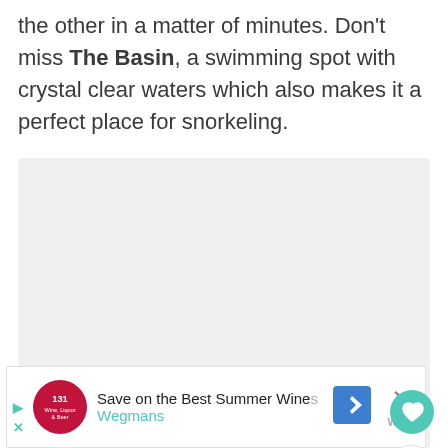the other in a matter of minutes. Don't miss The Basin, a swimming spot with crystal clear waters which also makes it a perfect place for snorkeling.
[Figure (photo): Image placeholder with light gray background and three dot indicators, representing a photo carousel or loading image area]
[Figure (other): Advertisement bar: Wegmans wine advertisement with logo, text 'Save on the Best Summer Wines' and 'Wegmans', navigation arrow icon, close button]